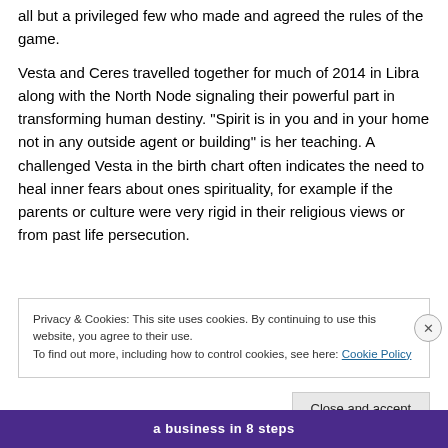all but a privileged few who made and agreed the rules of the game.
Vesta and Ceres travelled together for much of 2014 in Libra along with the North Node signaling their powerful part in transforming human destiny. “Spirit is in you and in your home not in any outside agent or building” is her teaching. A challenged Vesta in the birth chart often indicates the need to heal inner fears about ones spirituality, for example if the parents or culture were very rigid in their religious views or from past life persecution.
Privacy & Cookies: This site uses cookies. By continuing to use this website, you agree to their use.
To find out more, including how to control cookies, see here: Cookie Policy